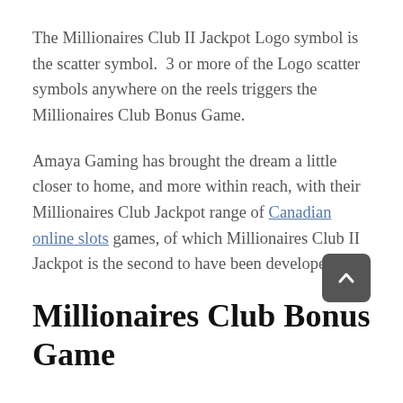The Millionaires Club II Jackpot Logo symbol is the scatter symbol.  3 or more of the Logo scatter symbols anywhere on the reels triggers the Millionaires Club Bonus Game.
Amaya Gaming has brought the dream a little closer to home, and more within reach, with their Millionaires Club Jackpot range of Canadian online slots games, of which Millionaires Club II Jackpot is the second to have been developed.
Millionaires Club Bonus Game